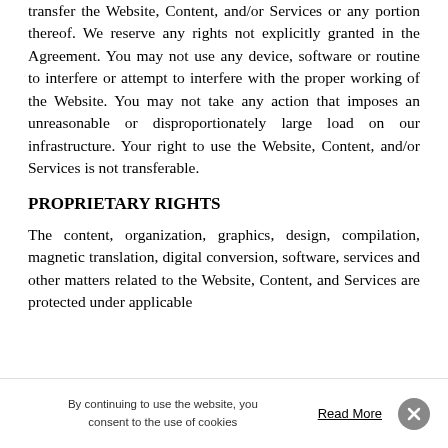transfer the Website, Content, and/or Services or any portion thereof. We reserve any rights not explicitly granted in the Agreement. You may not use any device, software or routine to interfere or attempt to interfere with the proper working of the Website. You may not take any action that imposes an unreasonable or disproportionately large load on our infrastructure. Your right to use the Website, Content, and/or Services is not transferable.
PROPRIETARY RIGHTS
The content, organization, graphics, design, compilation, magnetic translation, digital conversion, software, services and other matters related to the Website, Content, and Services are protected under applicable
By continuing to use the website, you consent to the use of cookies